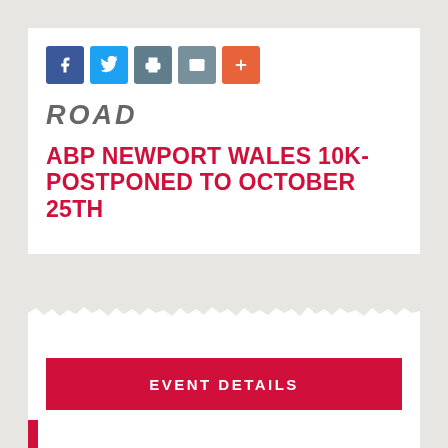[Figure (other): Social sharing buttons row: Facebook (blue), Twitter (light blue), Print (grey-blue), Email (grey), More/Plus (orange-red)]
ROAD
ABP NEWPORT WALES 10K- POSTPONED TO OCTOBER 25TH
EVENT DETAILS